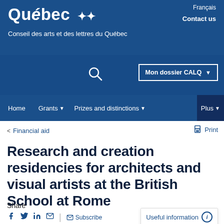Québec ✤✤ Conseil des arts et des lettres du Québec | Français | Contact us
Mon dossier CALQ
Home | Grants | Prizes and distinctions | Plus
Financial aid
Print
Research and creation residencies for architects and visual artists at the British School at Rome
Share
Subscribe | Useful information